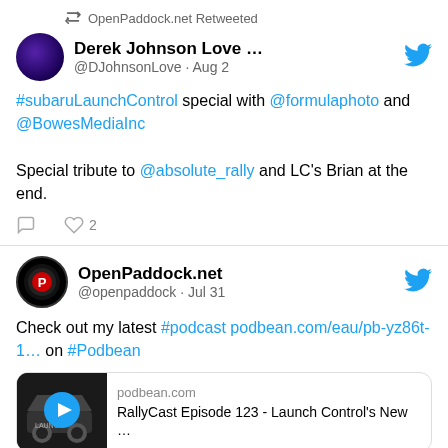OpenPaddock.net Retweeted
Derek Johnson Love ... @DJohnsonLove · Aug 2
#subaruLaunchControl special with @formulaphoto and @BowesMediaInc

Special tribute to @absolute_rally and LC's Brian at the end.
❤ 2
OpenPaddock.net @openpaddock · Jul 31
Check out my latest #podcast podbean.com/eau/pb-yz86t-1… on #Podbean
podbean.com
RallyCast Episode 123 - Launch Control's New …